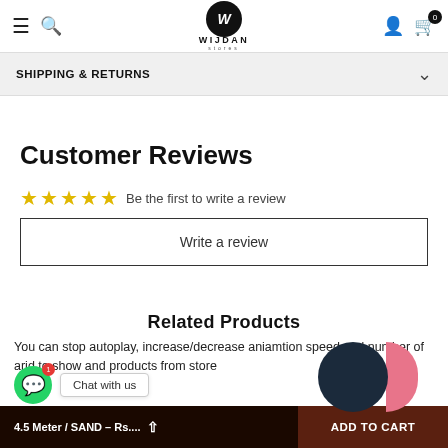WIJDAN Stores
SHIPPING & RETURNS
Customer Reviews
Be the first to write a review
Write a review
Related Products
You can stop autoplay, increase/decrease aniamtion speed and number of arid to show and products from store
Chat with us
4.5 Meter / SAND – Rs.... ADD TO CART